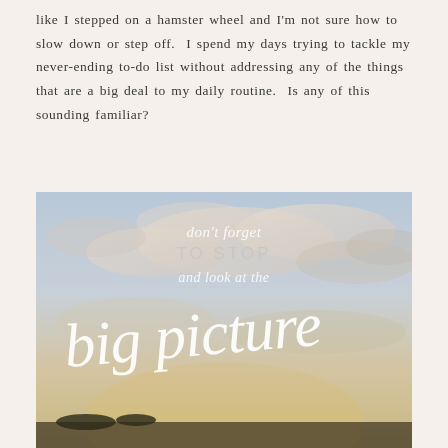like I stepped on a hamster wheel and I'm not sure how to slow down or step off.  I spend my days trying to tackle my never-ending to-do list without addressing any of the things that are a big deal to my daily routine.  Is any of this sounding familiar?
[Figure (photo): A sky with clouds photo overlaid with inspirational text: 'don't forget TO STOP and look at the big picture' in white script and sans-serif lettering]